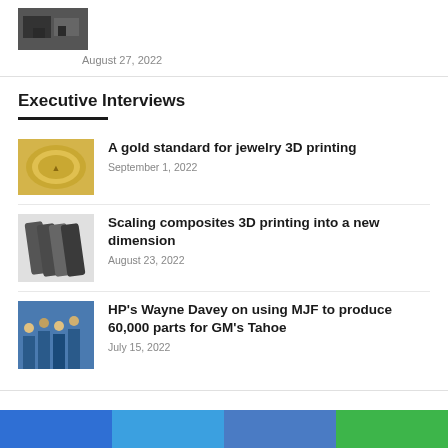[Figure (photo): Thumbnail photo of a building/factory scene (dark tones)]
August 27, 2022
Executive Interviews
[Figure (photo): Gold coin jewelry piece for 3D printing article]
A gold standard for jewelry 3D printing
September 1, 2022
[Figure (photo): Dark composite 3D printed parts stacked together]
Scaling composites 3D printing into a new dimension
August 23, 2022
[Figure (photo): Group of people at HP booth/event]
HP's Wayne Davey on using MJF to produce 60,000 parts for GM's Tahoe
July 15, 2022